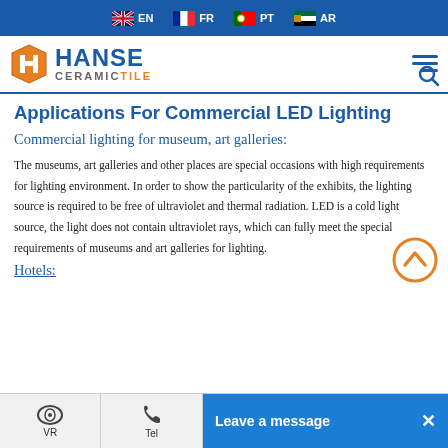EN  FR  PT  AR
[Figure (logo): Hanse Ceramic Tile logo with orange H icon and blue/orange text]
Applications For Commercial LED Lighting
Commercial lighting for museum, art galleries:
The museums, art galleries and other places are special occasions with high requirements for lighting environment. In order to show the particularity of the exhibits, the lighting source is required to be free of ultraviolet and thermal radiation. LED is a cold light source, the light does not contain ultraviolet rays, which can fully meet the special requirements of museums and art galleries for lighting.
Hotels:
VR  Tel  Leave a message  ×